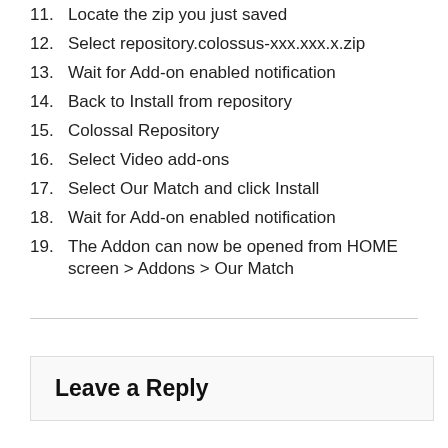11. Locate the zip you just saved
12. Select repository.colossus-xxx.xxx.x.zip
13. Wait for Add-on enabled notification
14. Back to Install from repository
15. Colossal Repository
16. Select Video add-ons
17. Select Our Match and click Install
18. Wait for Add-on enabled notification
19. The Addon can now be opened from HOME screen > Addons > Our Match
Leave a Reply